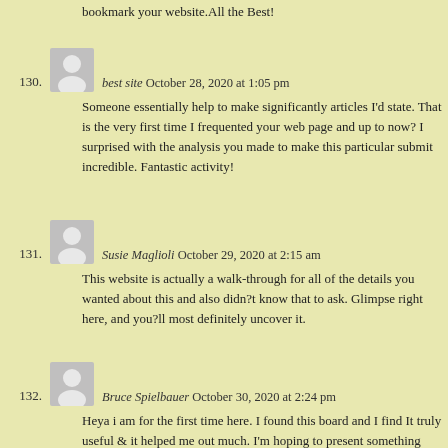bookmark your website.All the Best!
130. best site October 28, 2020 at 1:05 pm
Someone essentially help to make significantly articles I'd state. That is the very first time I frequented your web page and up to now? I surprised with the analysis you made to make this particular submit incredible. Fantastic activity!
131. Susie Maglioli October 29, 2020 at 2:15 am
This website is actually a walk-through for all of the details you wanted about this and also didn?t know that to ask. Glimpse right here, and you?ll most definitely uncover it.
132. Bruce Spielbauer October 30, 2020 at 2:24 pm
Heya i am for the first time here. I found this board and I find It truly useful & it helped me out much. I'm hoping to present something again and help others like you aided me.